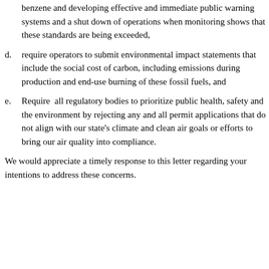benzene and developing effective and immediate public warning systems and a shut down of operations when monitoring shows that these standards are being exceeded,
d. require operators to submit environmental impact statements that include the social cost of carbon, including emissions during production and end-use burning of these fossil fuels, and
e. Require all regulatory bodies to prioritize public health, safety and the environment by rejecting any and all permit applications that do not align with our state's climate and clean air goals or efforts to bring our air quality into compliance.
We would appreciate a timely response to this letter regarding your intentions to address these concerns.